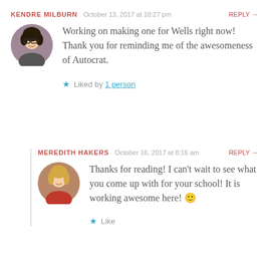KENDRE MILBURN — October 13, 2017 at 10:27 pm — REPLY →
[Figure (photo): Circular avatar photo of a young woman with dark hair and glasses, smiling]
Working on making one for Wells right now! Thank you for reminding me of the awesomeness of Autocrat.
★ Liked by 1 person
MEREDITH HAKERS — October 16, 2017 at 8:16 am — REPLY →
[Figure (photo): Circular avatar photo of a young woman with blonde hair, smiling, wearing a red top]
Thanks for reading! I can't wait to see what you come up with for your school! It is working awesome here! 🙂
★ Like